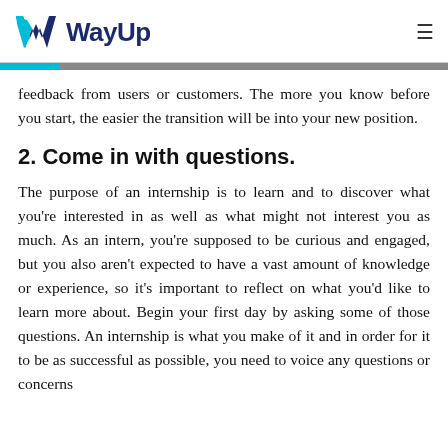WayUp
feedback from users or customers. The more you know before you start, the easier the transition will be into your new position.
2. Come in with questions.
The purpose of an internship is to learn and to discover what you're interested in as well as what might not interest you as much. As an intern, you're supposed to be curious and engaged, but you also aren't expected to have a vast amount of knowledge or experience, so it's important to reflect on what you'd like to learn more about. Begin your first day by asking some of those questions. An internship is what you make of it and in order for it to be as successful as possible, you need to voice any questions or concerns